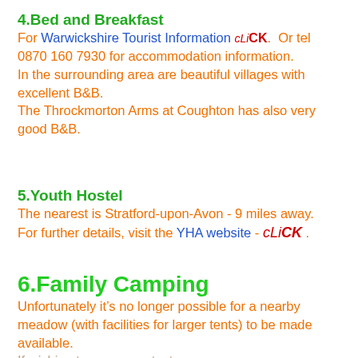4.Bed and Breakfast
For Warwickshire Tourist Information cLiCK.  Or tel 0870 160 7930 for accommodation information. In the surrounding area are beautiful villages with excellent B&B. The Throckmorton Arms at Coughton has also very good B&B.
5.Youth Hostel
The nearest is Stratford-upon-Avon - 9 miles away. For further details, visit the YHA website - cLiCK .
6.Family Camping
Unfortunately it’s no longer possible for a nearby meadow (with facilities for larger tents) to be made available. If wishing to camp, contact us as soon